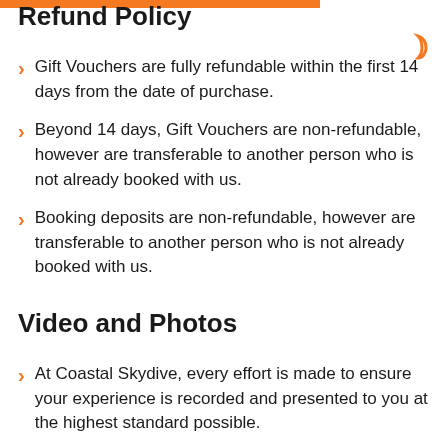Refund Policy
Gift Vouchers are fully refundable within the first 14 days from the date of purchase.
Beyond 14 days, Gift Vouchers are non-refundable, however are transferable to another person who is not already booked with us.
Booking deposits are non-refundable, however are transferable to another person who is not already booked with us.
Video and Photos
At Coastal Skydive, every effort is made to ensure your experience is recorded and presented to you at the highest standard possible.